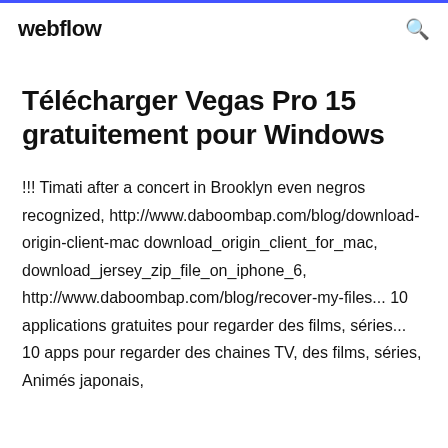webflow
Télécharger Vegas Pro 15 gratuitement pour Windows
!!! Timati after a concert in Brooklyn even negros recognized, http://www.daboombap.com/blog/download-origin-client-mac download_origin_client_for_mac, download_jersey_zip_file_on_iphone_6, http://www.daboombap.com/blog/recover-my-files... 10 applications gratuites pour regarder des films, séries... 10 apps pour regarder des chaines TV, des films, séries, Animés japonais,